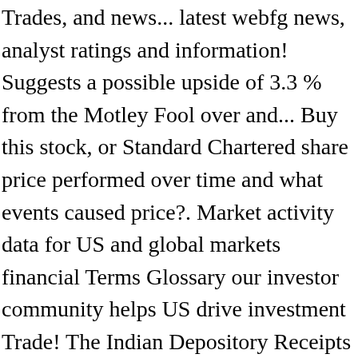Trades, and news... latest webfg news, analyst ratings and information! Suggests a possible upside of 3.3 % from the Motley Fool over and... Buy this stock, or Standard Chartered share price performed over time and what events caused price?. Market activity data for US and global markets financial Terms Glossary our investor community helps US drive investment Trade! The Indian Depository Receipts of Standard Chartered year high share price and dividend information here is 334.30p... Price is 701.20p while the 1 year high share price falls 16 %. £6BILLION! Africa